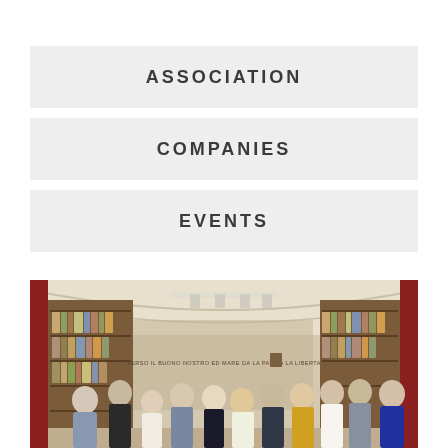ASSOCIATION
COMPANIES
EVENTS
[Figure (photo): Group photo of approximately 11 people standing together in a library or reading room with wooden bookshelves, red walls, and track lighting on a white ceiling. Text inscription visible on the wall behind them.]